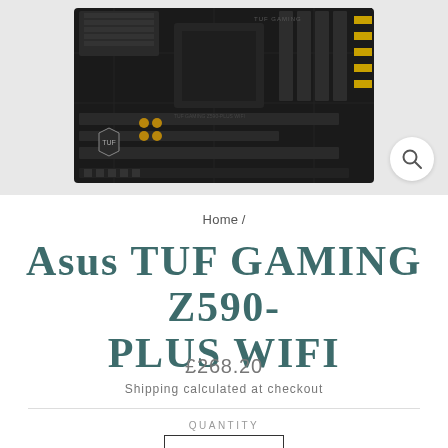[Figure (photo): ASUS TUF GAMING Z590-PLUS WIFI motherboard photo on grey background with zoom icon]
Home /
Asus TUF GAMING Z590-PLUS WIFI
£268.20
Shipping calculated at checkout
QUANTITY
− 1 +